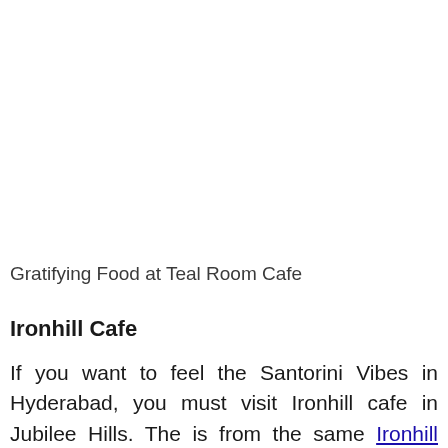Gratifying Food at Teal Room Cafe
Ironhill Cafe
If you want to feel the Santorini Vibes in Hyderabad, you must visit Ironhill cafe in Jubilee Hills. The is from the same Ironhill Brewery group. They too have multiple outlets and all of them are quite spacious. They have a huge